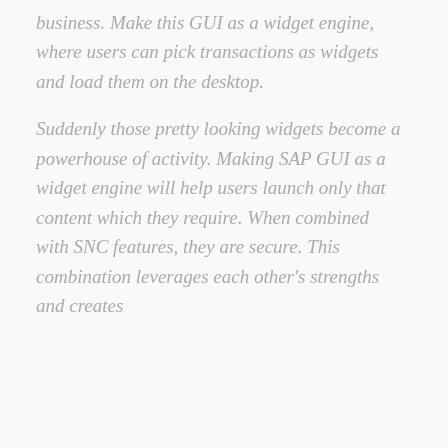business. Make this GUI as a widget engine, where users can pick transactions as widgets and load them on the desktop.
Suddenly those pretty looking widgets become a powerhouse of activity. Making SAP GUI as a widget engine will help users launch only that content which they require. When combined with SNC features, they are secure. This combination leverages each other's strengths and creates